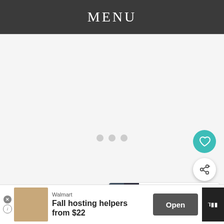MENU
[Figure (screenshot): Loading content area with three gray dots indicating loading state]
[Figure (illustration): Teal circular heart/favorite button]
[Figure (illustration): White circular share button]
[Figure (screenshot): WHAT'S NEXT card with thumbnail and title 'Red Carpet Printed Dres...']
4. Claire Danes in Schiaparelli
[Figure (screenshot): Walmart advertisement banner: 'Fall hosting helpers from $22' with Open button]